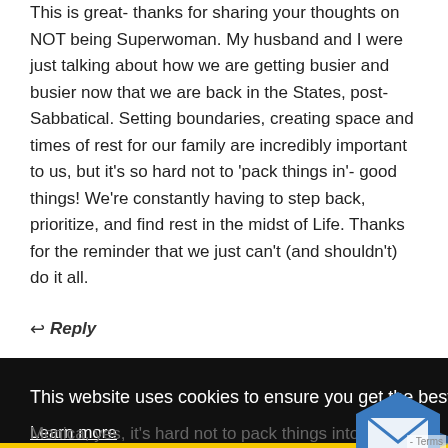This is great- thanks for sharing your thoughts on NOT being Superwoman. My husband and I were just talking about how we are getting busier and busier now that we are back in the States, post-Sabbatical. Setting boundaries, creating space and times of rest for our family are incredibly important to us, but it's so hard not to 'pack things in'- good things! We're constantly having to step back, prioritize, and find rest in the midst of Life. Thanks for the reminder that we just can't (and shouldn't) do it all.
↩ Reply
This website uses cookies to ensure you get the best experience on our website.
Learn more
Got it!
Monica, yes, it's hard not to pack things into schedules